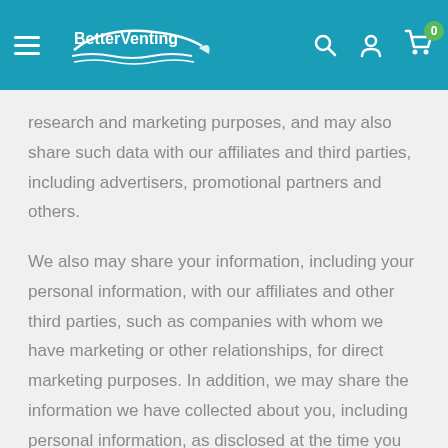BetterVenting — website navigation header with hamburger menu, logo, search, account, and cart icons
research and marketing purposes, and may also share such data with our affiliates and third parties, including advertisers, promotional partners and others.
We also may share your information, including your personal information, with our affiliates and other third parties, such as companies with whom we have marketing or other relationships, for direct marketing purposes. In addition, we may share the information we have collected about you, including personal information, as disclosed at the time you provide your information and as described in this Privacy Policy.
We may use email addresses and usernames to track usage